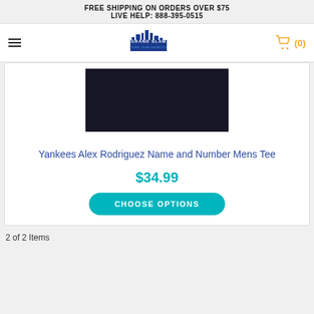FREE SHIPPING ON ORDERS OVER $75
LIVE HELP: 888-395-0515
[Figure (logo): Grand Slam logo with city skyline]
[Figure (photo): Dark navy/black product image of a Yankees tee shirt]
Yankees Alex Rodriguez Name and Number Mens Tee
$34.99
CHOOSE OPTIONS
2 of 2 Items